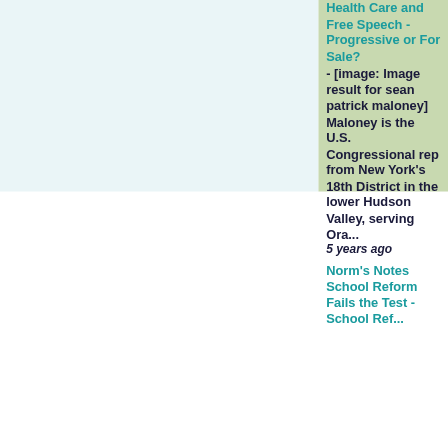Health Care and Free Speech - Progressive or For Sale? - [image: Image result for sean patrick maloney] Maloney is the U.S. Congressional rep from New York's 18th District in the lower Hudson Valley, serving Ora...
5 years ago
Norm's Notes School Reform Fails the Test - School Ref...